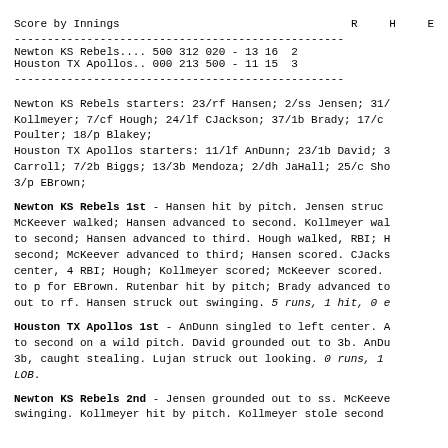| Score by Innings |  | R | H | E |
| --- | --- | --- | --- | --- |
| Newton KS Rebels.... | 500 312 020 - | 13 | 16 | 2 |
| Houston TX Apollos.. | 000 213 500 - | 11 | 15 | 3 |
Newton KS Rebels starters: 23/rf Hansen; 2/ss Jensen; 31/... Kollmeyer; 7/cf Hough; 24/lf CJackson; 37/1b Brady; 17/c Poulter; 18/p Blakey;
Houston TX Apollos starters: 11/lf AnDunn; 23/1b David; 3... Carroll; 7/2b Biggs; 13/3b Mendoza; 2/dh JaHall; 25/c Sho... 3/p EBrown;
Newton KS Rebels 1st - Hansen hit by pitch. Jensen struck... McKeever walked; Hansen advanced to second. Kollmeyer wa... to second; Hansen advanced to third. Hough walked, RBI; H... second; McKeever advanced to third; Hansen scored. CJacks... center, 4 RBI; Hough; Kollmeyer scored; McKeever scored. ... to p for EBrown. Rutenbar hit by pitch; Brady advanced to... out to rf. Hansen struck out swinging. 5 runs, 1 hit, 0 e...
Houston TX Apollos 1st - AnDunn singled to left center. A... to second on a wild pitch. David grounded out to 3b. AnDu... 3b, caught stealing. Lujan struck out looking. 0 runs, 1 LOB.
Newton KS Rebels 2nd - Jensen grounded out to ss. McKeeve... swinging. Kollmeyer hit by pitch. Kollmeyer stole second...